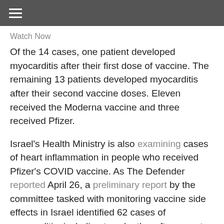≡
Watch Now
Of the 14 cases, one patient developed myocarditis after their first dose of vaccine. The remaining 13 patients developed myocarditis after their second vaccine doses. Eleven received the Moderna vaccine and three received Pfizer.
Israel's Health Ministry is also examining cases of heart inflammation in people who received Pfizer's COVID vaccine. As The Defender reported April 26, a preliminary report by the committee tasked with monitoring vaccine side effects in Israel identified 62 cases of myocarditis, including two deaths, after recent vaccination with Pfizer. Fifty-five of the cases occurred in men — most between ages 18 and 30.
Generated by Feedzy
In the case of AstraZeneca, PRAC said it is